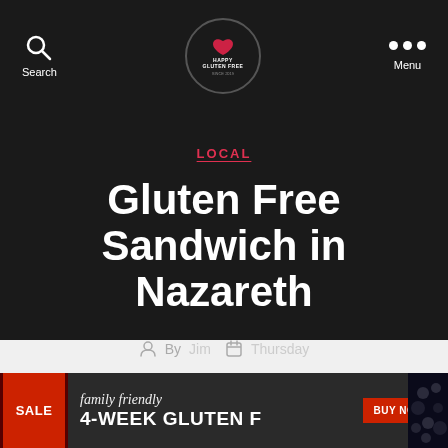Search | HAPPY GLUTEN FREE | Menu
LOCAL
Gluten Free Sandwich in Nazareth
By Jim · Thursday
[Figure (infographic): Advertisement banner: SALE badge, '4-WEEK GLUTEN F' with 'family friendly' italic script above, BUY NOW button, food images on edges]